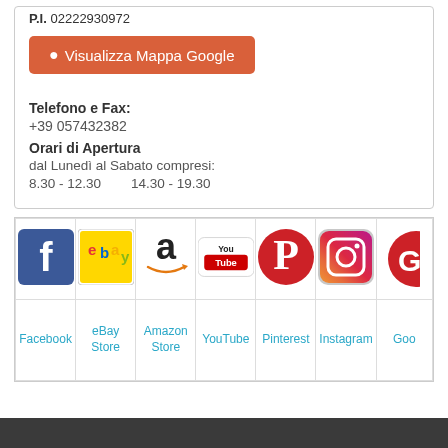P.I. 02222930972
Visualizza Mappa Google
Telefono e Fax: +39 057432382
Orari di Apertura
dal Lunedì al Sabato compresi:
8.30 - 12.30   14.30 - 19.30
| Facebook | eBay Store | Amazon Store | YouTube | Pinterest | Instagram | Goo... |
| --- | --- | --- | --- | --- | --- | --- |
| [fb icon] | [ebay icon] | [amz icon] | [yt icon] | [pin icon] | [ig icon] | [goo icon] |
| Facebook | eBay Store | Amazon Store | YouTube | Pinterest | Instagram | Goo... |